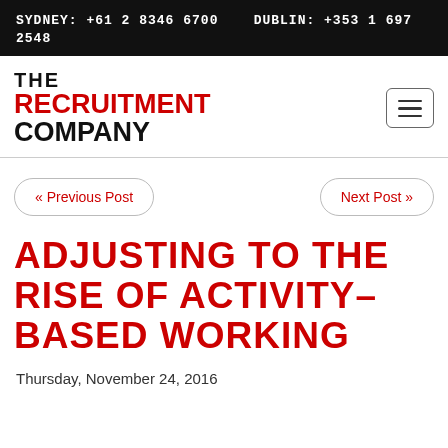SYDNEY: +61 2 8346 6700   DUBLIN: +353 1 697 2548
[Figure (logo): The Recruitment Company logo — THE in black, RECRUITMENT in red, COMPANY in black, bold uppercase stacked text]
« Previous Post
Next Post »
ADJUSTING TO THE RISE OF ACTIVITY-BASED WORKING
Thursday, November 24, 2016